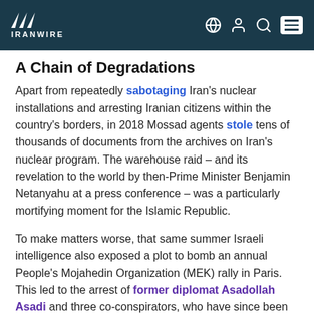IRANWIRE
A Chain of Degradations
Apart from repeatedly sabotaging Iran's nuclear installations and arresting Iranian citizens within the country's borders, in 2018 Mossad agents stole tens of thousands of documents from the archives on Iran's nuclear program. The warehouse raid – and its revelation to the world by then-Prime Minister Benjamin Netanyahu at a press conference – was a particularly mortifying moment for the Islamic Republic.
To make matters worse, that same summer Israeli intelligence also exposed a plot to bomb an annual People's Mojahedin Organization (MEK) rally in Paris. This led to the arrest of former diplomat Asadollah Asadi and three co-conspirators, who have since been